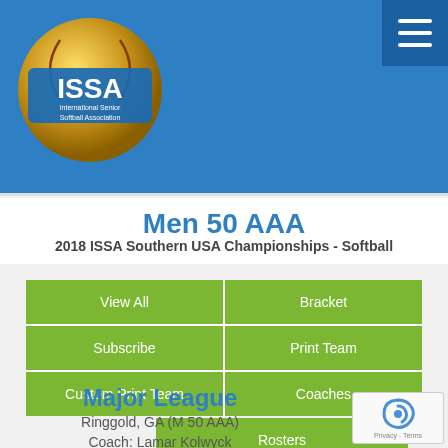ISSA - International Senior Softball Association
Men 50 AAA
2018 ISSA Southern USA Championships  -  Softball
| View All | Bracket |
| --- | --- |
| Subscribe | Print Team |
| Custom Print Team | Coaches |
| Rosters |  |
Major League
Ringgold, GA (M 50 AAA)
Coach: Lamar Kolwyck